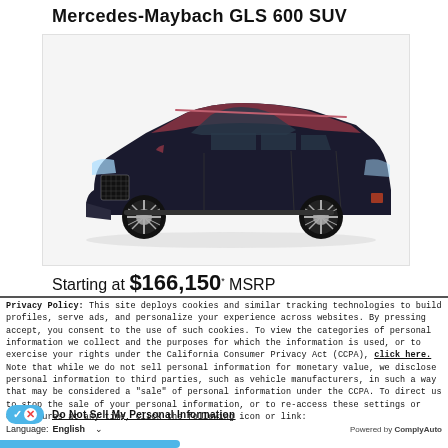Mercedes-Maybach GLS 600 SUV
[Figure (photo): Mercedes-Maybach GLS 600 SUV luxury vehicle in dark navy/black with rose gold roof accents, three-quarter front view on white background]
Starting at $166,150* MSRP
Privacy Policy: This site deploys cookies and similar tracking technologies to build profiles, serve ads, and personalize your experience across websites. By pressing accept, you consent to the use of such cookies. To view the categories of personal information we collect and the purposes for which the information is used, or to exercise your rights under the California Consumer Privacy Act (CCPA), click here. Note that while we do not sell personal information for monetary value, we disclose personal information to third parties, such as vehicle manufacturers, in such a way that may be considered a "sale" of personal information under the CCPA. To direct us to stop the sale of your personal information, or to re-access these settings or disclosures at any time, click the following icon or link:
Do Not Sell My Personal Information
Language: English ∨ Powered by ComplyAuto